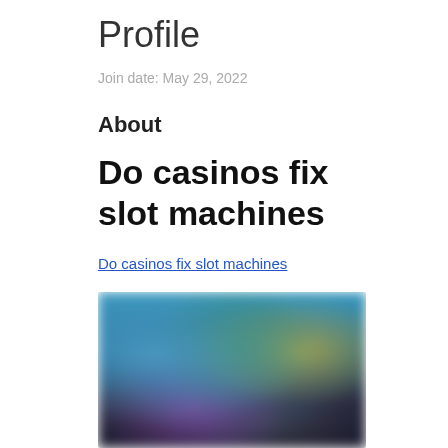Profile
Join date: May 29, 2022
About
Do casinos fix slot machines
Do casinos fix slot machines
[Figure (screenshot): Blurred screenshot of a casino slot machine game interface with colorful characters and game icons]